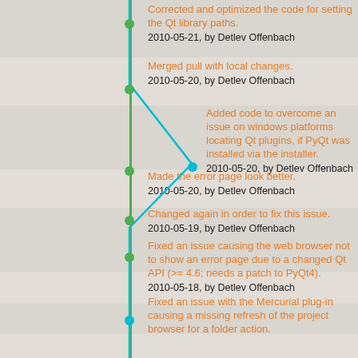Corrected and optimized the code for setting the Qt library paths.
2010-05-21, by Detlev Offenbach
Merged pull with local changes.
2010-05-20, by Detlev Offenbach
Added code to overcome an issue on windows platforms locating Qt plugins, if PyQt was installed via the installer.
2010-05-20, by Detlev Offenbach
Made the error page look better.
2010-05-20, by Detlev Offenbach
Changed again in order to fix this issue.
2010-05-19, by Detlev Offenbach
Fixed an issue causing the web browser not to show an error page due to a changed Qt API (>= 4.6; needs a patch to PyQt4).
2010-05-18, by Detlev Offenbach
Fixed an issue with the Mercurial plug-in causing a missing refresh of the project browser for a folder action.
2010-05-18, by Detlev Offenbach
Fixed a few Windows related issues.
2010-05-16, by Detlev Offenbach
Fixed a typo causing a traceback in the history manager.
2010-05-16, by Detlev Offenbach
Some changes to the eric web browser.
2010-05-16, by Detlev Offenbach
Updated source docu.
2010-05-15, by Detlev Offenbach
Fixed an issue introduced by the latest changes.